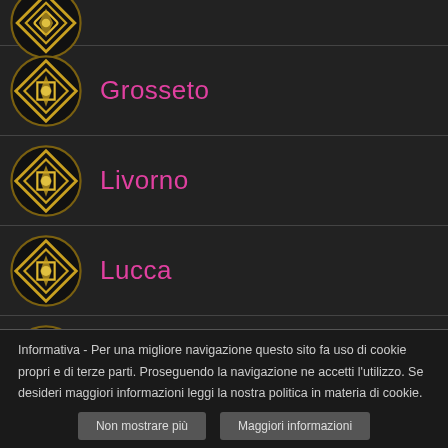(partial top row)
Grosseto
Livorno
Lucca
Massa Carrara
Informativa - Per una migliore navigazione questo sito fa uso di cookie propri e di terze parti. Proseguendo la navigazione ne accetti l'utilizzo. Se desideri maggiori informazioni leggi la nostra politica in materia di cookie.
Non mostrare più | Maggiori informazioni